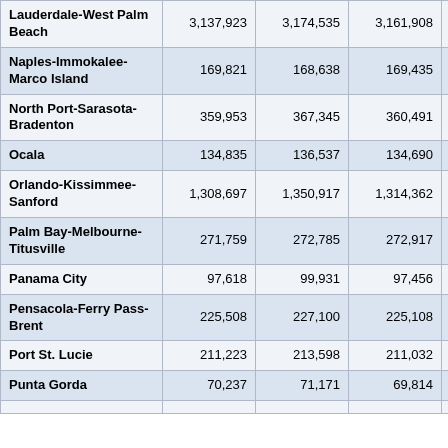| Metro Area | Col1 | Col2 | Col3 | Col4 |
| --- | --- | --- | --- | --- |
| Lauderdale-West Palm Beach | 3,137,923 | 3,174,535 | 3,161,908 | 3,175,1… |
| Naples-Immokalee-Marco Island | 169,821 | 168,638 | 169,435 | 168,7… |
| North Port-Sarasota-Bradenton | 359,953 | 367,345 | 360,491 | 368,4… |
| Ocala | 134,835 | 136,537 | 134,690 | 137,0… |
| Orlando-Kissimmee-Sanford | 1,308,697 | 1,350,917 | 1,314,362 | 1,363,0… |
| Palm Bay-Melbourne-Titusville | 271,759 | 272,785 | 272,917 | 275,6… |
| Panama City | 97,618 | 99,931 | 97,456 | 100,3… |
| Pensacola-Ferry Pass-Brent | 225,508 | 227,100 | 225,108 | 228,5… |
| Port St. Lucie | 211,223 | 213,598 | 211,032 | 212,9… |
| Punta Gorda | 70,237 | 71,171 | 69,814 | 70,9… |